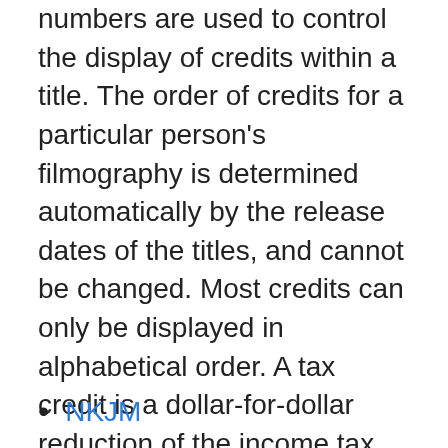numbers are used to control the display of credits within a title. The order of credits for a particular person's filmography is determined automatically by the release dates of the titles, and cannot be changed. Most credits can only be displayed in alphabetical order. A tax credit is a dollar-for-dollar reduction of the income tax you owe. For example, if you owe $1,000 in federal taxes but are eligible for a $1,000 tax credit, your net liability drops to zero.
Thomas ericsson carnegie
NKJM